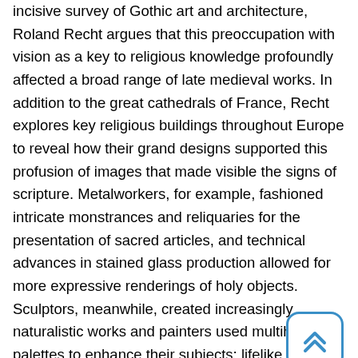incisive survey of Gothic art and architecture, Roland Recht argues that this preoccupation with vision as a key to religious knowledge profoundly affected a broad range of late medieval works. In addition to the great cathedrals of France, Recht explores key religious buildings throughout Europe to reveal how their grand designs supported this profusion of images that made visible the signs of scripture. Metalworkers, for example, fashioned intricate monstrances and reliquaries for the presentation of sacred articles, and technical advances in stained glass production allowed for more expressive renderings of holy objects. Sculptors, meanwhile, created increasingly naturalistic works and painters used multihued palettes to enhance their subjects; lifelike qualities. Reimagining these works as a link between devotional practices in the late Middle Ages and contemporaneous theories that deemed vision the basis of empirical truth, Recht provides students and scholars with a new and powerful lens through which to view Gothic art and architecture.
[Figure (other): Scroll-to-top button: rounded rectangle with blue border and double chevron up arrow icon]